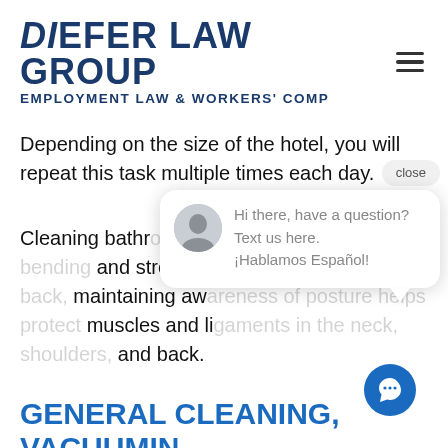DiEFER LAW GROUP — EMPLOYMENT LAW & WORKERS' COMP
Depending on the size of the hotel, you will repeat this task multiple times each day.
Cleaning bathrooms and stretch repetitions, maintaining awareness, muscles and ligaments and back.
[Figure (screenshot): Chat widget with close button and message: Hi there, have a question? Text us here. ¡Hablamos Español!]
GENERAL CLEANING, VACUUMING AND DUSTING